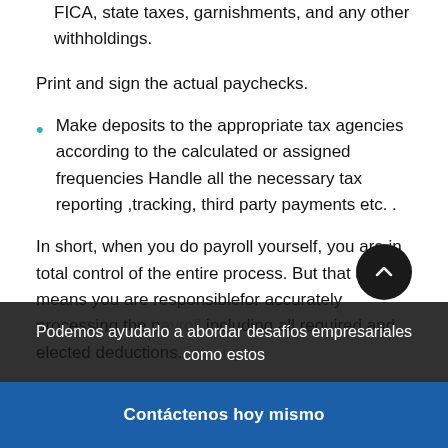FICA, state taxes, garnishments, and any other withholdings.
Print and sign the actual paychecks.
Make deposits to the appropriate tax agencies according to the calculated or assigned frequencies Handle all the necessary tax reporting ,tracking, third party payments etc. .
In short, when you do payroll yourself, you are in total control of the entire process. But that also means you are responsiblefor accurately processing the p... including all required and elected deductions...
Podemos ayudarlo a abordar desafíos empresariales como estos
Contáctenos hoy mismo